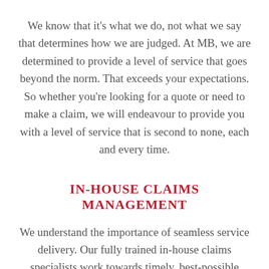We know that it's what we do, not what we say that determines how we are judged. At MB, we are determined to provide a level of service that goes beyond the norm. That exceeds your expectations. So whether you're looking for a quote or need to make a claim, we will endeavour to provide you with a level of service that is second to none, each and every time.
IN-HOUSE CLAIMS MANAGEMENT
We understand the importance of seamless service delivery. Our fully trained in-house claims specialists work towards timely, best-possible outcomes for our clients, each and